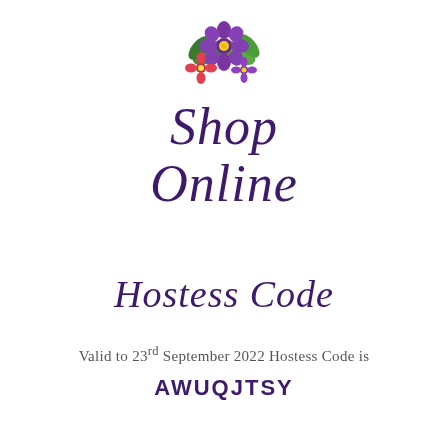[Figure (illustration): Watercolor floral illustration with purple and red flowers and green leaves]
Shop Online
Hostess Code
Valid to 23rd September 2022 Hostess Code is
AWUQJTSY